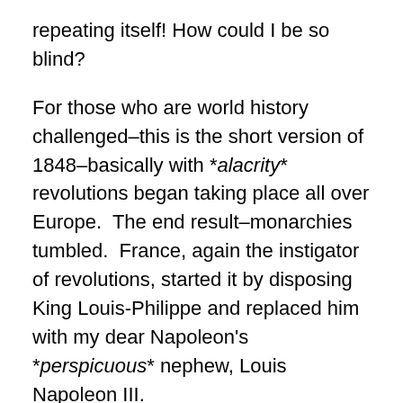repeating itself! How could I be so blind?
For those who are world history challenged–this is the short version of 1848–basically with *alacrity* revolutions began taking place all over Europe.  The end result–monarchies tumbled.  France, again the instigator of revolutions, started it by disposing King Louis-Philippe and replaced him with my dear Napoleon's *perspicuous* nephew, Louis Napoleon III.
So here we are in 2011…and instead of France igniting the revolutionary fire (thank you baby Jesus)  it's the Middle Eastern swarthy monarchs and authoritarians that are taking the plunge into exile (some with a fight others not so much).